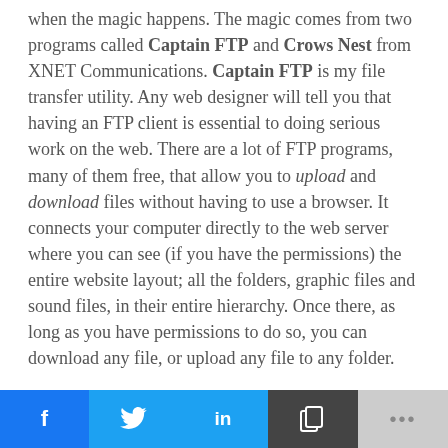when the magic happens. The magic comes from two programs called Captain FTP and Crows Nest from XNET Communications. Captain FTP is my file transfer utility. Any web designer will tell you that having an FTP client is essential to doing serious work on the web. There are a lot of FTP programs, many of them free, that allow you to upload and download files without having to use a browser. It connects your computer directly to the web server where you can see (if you have the permissions) the entire website layout; all the folders, graphic files and sound files, in their entire hierarchy. Once there, as long as you have permissions to do so, you can download any file, or upload any file to any folder.
f  t  in  [copy]  ...